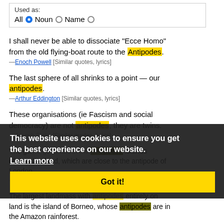Used as: All (selected: Noun) Noun Name
I shall never be able to dissociate "Ecce Homo" from the old flying-boat route to the Antipodes. —Enoch Powell [Similar quotes, lyrics]
The last sphere of all shrinks to a point — our antipodes. —Arthur Eddington [Similar quotes, lyrics]
These organisations (ie Fascism and social democracy) are not antipodes, they are twins. —Joseph Stalin [Similar quotes, lyrics]
The game goes about the Antipodes Islands of New Zealand, which are close to the antipode of London. —Antipodes [Similar quotes, lyrics]
The largest landmass with antipodes entirely on land is the island of Borneo, whose antipodes are in the Amazon rainforest.
This website uses cookies to ensure you get the best experience on our website. Learn more
Got it!